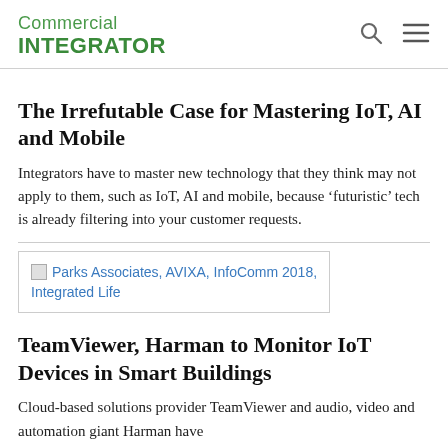Commercial INTEGRATOR
The Irrefutable Case for Mastering IoT, AI and Mobile
Integrators have to master new technology that they think may not apply to them, such as IoT, AI and mobile, because ‘futuristic’ tech is already filtering into your customer requests.
[Figure (other): Broken image placeholder linking to Parks Associates, AVIXA, InfoComm 2018, Integrated Life]
TeamViewer, Harman to Monitor IoT Devices in Smart Buildings
Cloud-based solutions provider TeamViewer and audio, video and automation giant Harman have